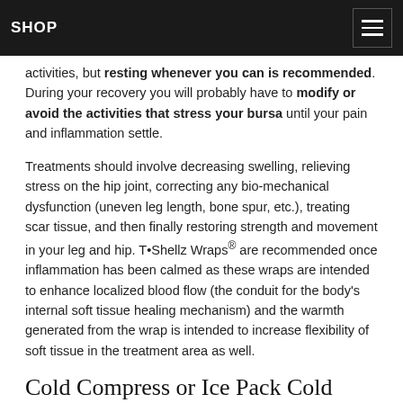SHOP
activities, but resting whenever you can is recommended. During your recovery you will probably have to modify or avoid the activities that stress your bursa until your pain and inflammation settle.
Treatments should involve decreasing swelling, relieving stress on the hip joint, correcting any bio-mechanical dysfunction (uneven leg length, bone spur, etc.), treating scar tissue, and then finally restoring strength and movement in your leg and hip. T•Shellz Wraps® are recommended once inflammation has been calmed as these wraps are intended to enhance localized blood flow (the conduit for the body's internal soft tissue healing mechanism) and the warmth generated from the wrap is intended to increase flexibility of soft tissue in the treatment area as well.
Cold Compress or Ice Pack Cold
To decrease inflammation and relieve the pain of trochanteric